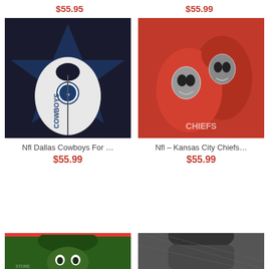$55.95
$55.99
[Figure (photo): NFL Dallas Cowboys hoodie/jacket with white and navy blue star pattern and Cowboys logo]
Nfl Dallas Cowboys For …
$55.99
[Figure (photo): NFL Kansas City Chiefs red hoodies with skeletal character mascot design]
Nfl – Kansas City Chiefs…
$55.99
[Figure (photo): Green NFL team hoodie with mascot design, red top border stripe]
[Figure (photo): Dark/grey patterned hoodie]